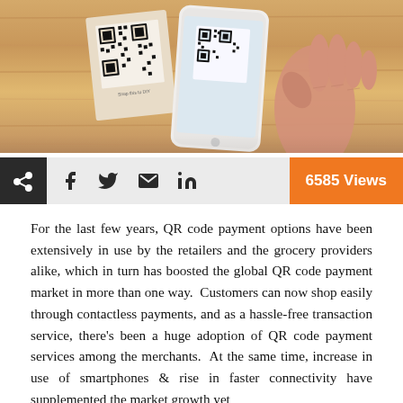[Figure (photo): A hand holding a smartphone scanning a QR code on a card, placed on a wooden surface]
6585 Views
For the last few years, QR code payment options have been extensively in use by the retailers and the grocery providers alike, which in turn has boosted the global QR code payment market in more than one way. Customers can now shop easily through contactless payments, and as a hassle-free transaction service, there's been a huge adoption of QR code payment services among the merchants. At the same time, increase in use of smartphones & rise in faster connectivity have supplemented the market growth yet